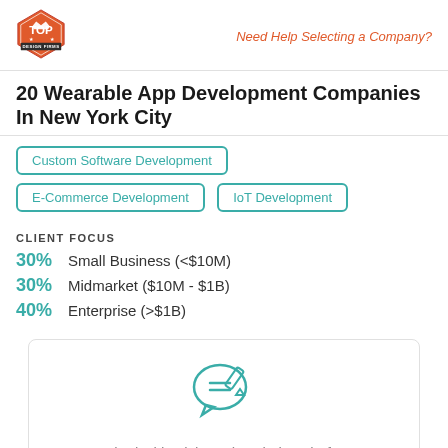Top Design Firms | Need Help Selecting a Company?
20 Wearable App Development Companies In New York City
Custom Software Development
E-Commerce Development
IoT Development
CLIENT FOCUS
30% Small Business (<$10M)
30% Midmarket ($10M - $1B)
40% Enterprise (>$1B)
[Figure (illustration): Speech bubble with pencil/writing icon representing reviews]
Worked with Nichetech Solutions before?